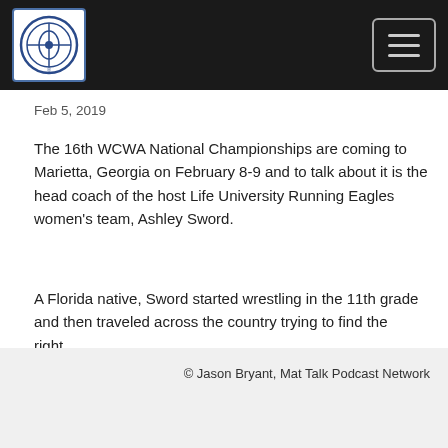Mat Talk Podcast Network logo and navigation menu
Feb 5, 2019
The 16th WCWA National Championships are coming to Marietta, Georgia on February 8-9 and to talk about it is the head coach of the host Life University Running Eagles women's team, Ashley Sword.
A Florida native, Sword started wrestling in the 11th grade and then traveled across the country trying to find the right...
Read More
© Jason Bryant, Mat Talk Podcast Network